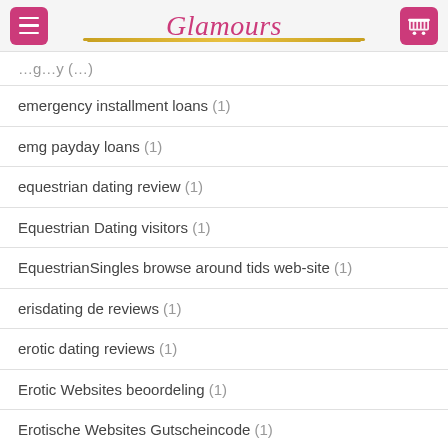Glamours
emergency installment loans (1)
emg payday loans (1)
equestrian dating review (1)
Equestrian Dating visitors (1)
EquestrianSingles browse around tids web-site (1)
erisdating de reviews (1)
erotic dating reviews (1)
Erotic Websites beoordeling (1)
Erotische Websites Gutscheincode (1)
Escort good site (1)